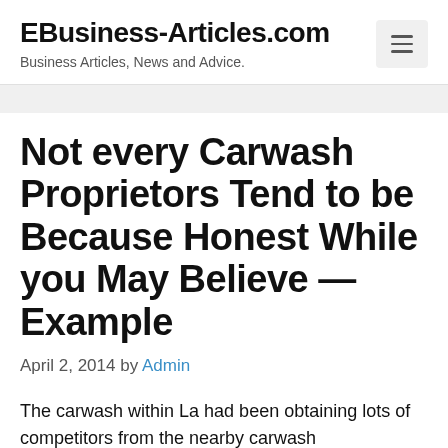EBusiness-Articles.com — Business Articles, News and Advice.
Not every Carwash Proprietors Tend to be Because Honest While you May Believe — Example
April 2, 2014 by Admin
The carwash within La had been obtaining lots of competitors from the nearby carwash